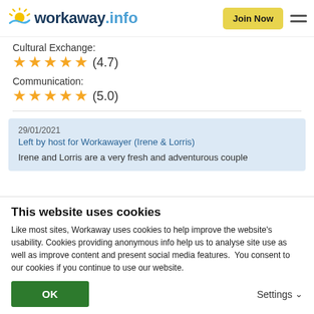workaway.info | Join Now
Cultural Exchange:
★★★★★ (4.7)
Communication:
★★★★★ (5.0)
29/01/2021
Left by host for Workawayer (Irene & Lorris)
Irene and Lorris are a very fresh and adventurous couple
This website uses cookies
Like most sites, Workaway uses cookies to help improve the website's usability. Cookies providing anonymous info help us to analyse site use as well as improve content and present social media features.  You consent to our cookies if you continue to use our website.
OK
Settings ∨